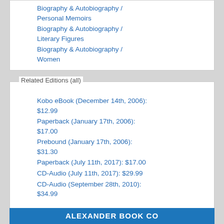Biography & Autobiography / Personal Memoirs
Biography & Autobiography / Literary Figures
Biography & Autobiography / Women
Related Editions (all)
Kobo eBook (December 14th, 2006): $12.99
Paperback (January 17th, 2006): $17.00
Prebound (January 17th, 2006): $31.30
Paperback (July 11th, 2017): $17.00
CD-Audio (July 11th, 2017): $29.99
CD-Audio (September 28th, 2010): $34.99
ALEXANDER BOOK CO